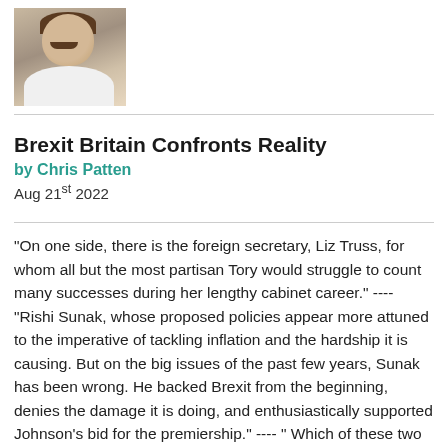[Figure (photo): Headshot photo of a man with a mustache wearing a white shirt]
Brexit Britain Confronts Reality
by Chris Patten
Aug 21st 2022
"On one side, there is the foreign secretary, Liz Truss, for whom all but the most partisan Tory would struggle to count many successes during her lengthy cabinet career." ---- "Rishi Sunak, whose proposed policies appear more attuned to the imperative of tackling inflation and the hardship it is causing. But on the big issues of the past few years, Sunak has been wrong. He backed Brexit from the beginning, denies the damage it is doing, and enthusiastically supported Johnson's bid for the premiership." ---- " Which of these two can offer honesty to the British people, who deserve to be treated like grown-ups? To paraphrase the US Democratic politician Adlai Stevenson, the average